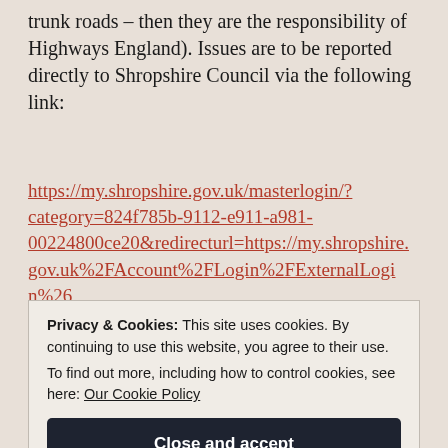trunk roads – then they are the responsibility of Highways England). Issues are to be reported directly to Shropshire Council via the following link:
https://my.shropshire.gov.uk/masterlogin/?category=824f785b-9112-e911-a981-00224800ce20&redirecturl=https://my.shropshire.gov.uk%2FAccount%2FLogin%2FExternalLogin%26
Privacy & Cookies: This site uses cookies. By continuing to use this website, you agree to their use.
To find out more, including how to control cookies, see here: Our Cookie Policy
Close and accept
Flooding issues on the highways are the